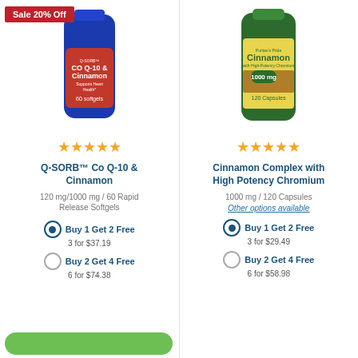[Figure (photo): Blue bottle of Puritan's Pride Q-SORB Co Q-10 & Cinnamon supplement, 60 softgels, with Sale 20% Off badge]
[Figure (photo): Green bottle of Puritan's Pride Cinnamon Complex with High Potency Chromium, 1000mg, 120 capsules]
Sale 20% Off
★★★★½
★★★★½
Q-SORB™ Co Q-10 & Cinnamon
Cinnamon Complex with High Potency Chromium
120 mg/1000 mg / 60 Rapid Release Softgels
1000 mg / 120 Capsules
Other options available
Buy 1 Get 2 Free — 3 for $37.19
Buy 2 Get 4 Free — 6 for $74.38
Buy 1 Get 2 Free — 3 for $29.49
Buy 2 Get 4 Free — 6 for $58.98